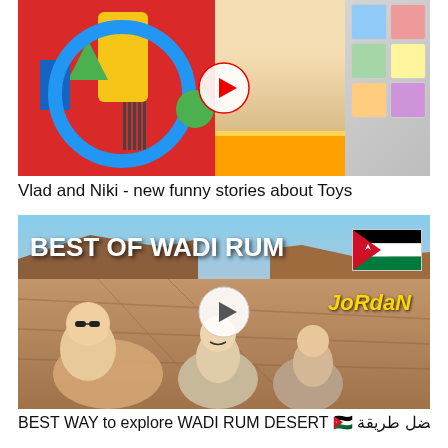[Figure (screenshot): YouTube video thumbnail showing colorful toy box with blue circle, yellow and red shapes, barcode, green dot, and child with toy cards on the right side. Play button in center.]
Vlad and Niki - new funny stories about Toys
[Figure (screenshot): YouTube video thumbnail showing 'BEST OF WADI RUM JORDAN' with three people selfie in Wadi Rum desert, Jordan flag in upper right, play button in center.]
BEST WAY to explore WADI RUM DESERT 🇯🇴 أفضل طريقة